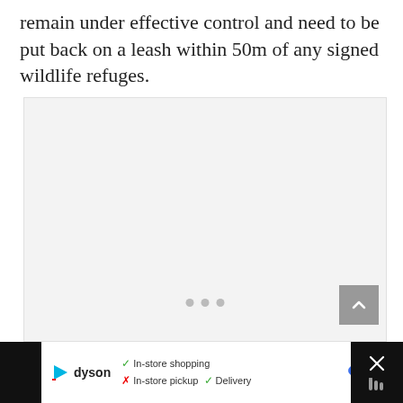remain under effective control and need to be put back on a leash within 50m of any signed wildlife refuges.
[Figure (other): A mostly blank/grey content placeholder area with three dot indicators at the bottom center and a grey scroll-to-top button (chevron up) at the bottom right.]
[Figure (screenshot): Advertisement bar at the bottom of the page. Left side has a black background. Center-right white section shows: Dyson logo (cyan play-button triangle icon + 'dyson' text), green check 'In-store shopping', red X 'In-store pickup', green check 'Delivery', a blue diamond navigation icon. Far right black section shows a white X close button and a grey thermometer/weather icon.]